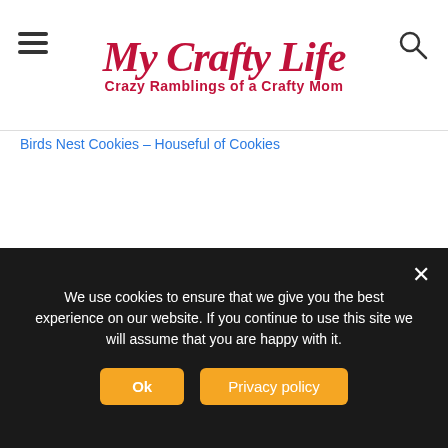[Figure (logo): My Crafty Life logo with script text and subtitle 'Crazy Ramblings of a Crafty Mom']
Birds Nest Cookies – Houseful of Cookies
[Figure (other): DMCA Protected badge with lock icon and dark background]
We use cookies to ensure that we give you the best experience on our website. If you continue to use this site we will assume that you are happy with it.